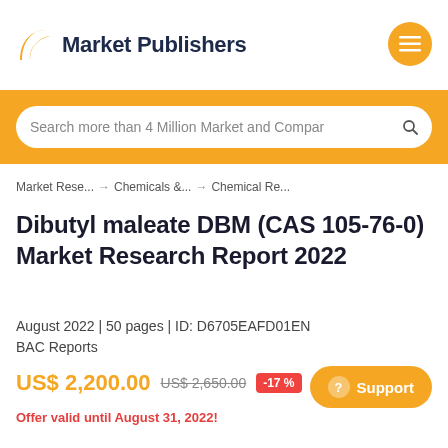Market Publishers
Search more than 4 Million Market and Compar
Market Rese... → Chemicals &... → Chemical Re...
Dibutyl maleate DBM (CAS 105-76-0) Market Research Report 2022
August 2022 | 50 pages | ID: D6705EAFD01EN
BAC Reports
US$ 2,200.00  US$ 2,650.00  -17 %
Offer valid until August 31, 2022!